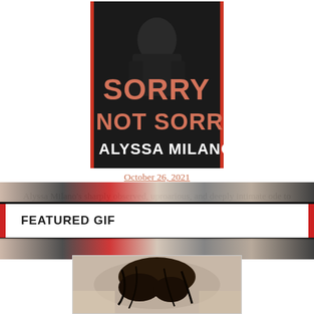[Figure (illustration): Book cover for 'Sorry Not Sorry' by Alyssa Milano. Dark background with woman in leather jacket. Text in salmon/pink: SORRY NOT SORRY. Author name: ALYSSA MILANO in white.]
October 26, 2021
Alyssa Milano’s sharply observed, uproarious, and deeply intimate ode to the life she has lived and the issues that matter most.
FEATURED GIF
[Figure (photo): Partial photo visible at bottom of page showing what appears to be a horse or animal with dark hair/mane, blurred background.]